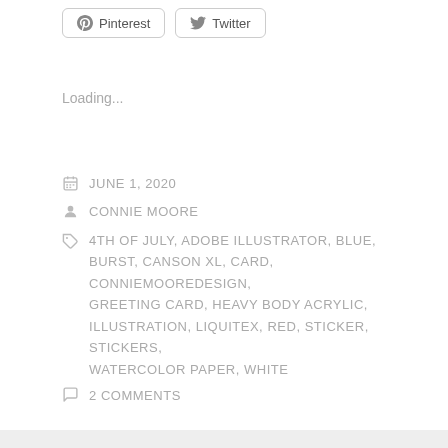[Figure (other): Pinterest and Twitter social share buttons]
Loading...
JUNE 1, 2020
CONNIE MOORE
4TH OF JULY, ADOBE ILLUSTRATOR, BLUE, BURST, CANSON XL, CARD, CONNIEMOOREDESIGN, GREETING CARD, HEAVY BODY ACRYLIC, ILLUSTRATION, LIQUITEX, RED, STICKER, STICKERS, WATERCOLOR PAPER, WHITE
2 COMMENTS